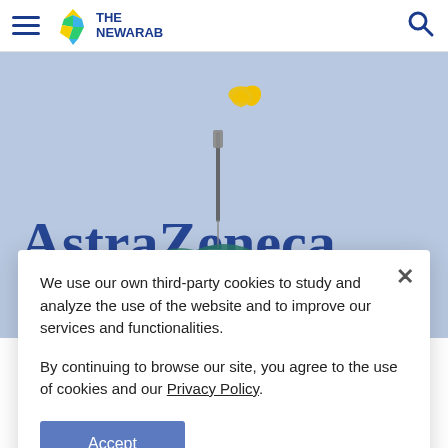THE NEWARAB
[Figure (photo): Close-up photo of a gloved hand holding a syringe in front of an AstraZeneca logo sign, blue background with yellow and blue AstraZeneca branding.]
We use our own third-party cookies to study and analyze the use of the website and to improve our services and functionalities.
By continuing to browse our site, you agree to the use of cookies and our Privacy Policy.
Accept